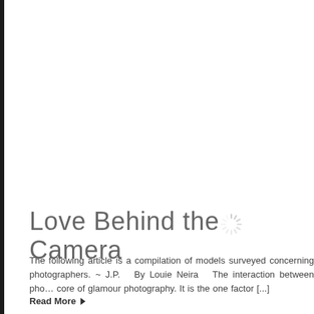[Figure (other): Loading spinner icon — a circular spinner graphic with radial lines in light gray, indicating a loading state. Located in the upper-right area of the white content region.]
Love Behind the Camera
The following article is a compilation of models surveyed concerning photographers. ~ J.P.  By Louie Neira  The interaction between pho… core of glamour photography. It is the one factor [...]
Read More ▶